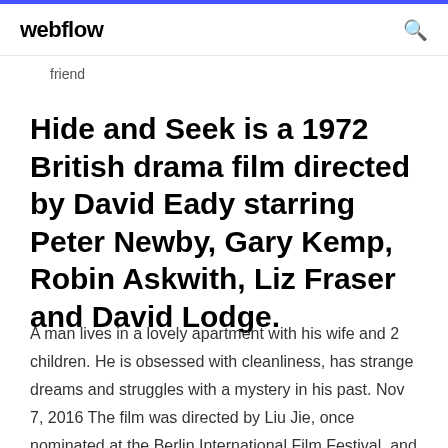webflow
friend
Hide and Seek is a 1972 British drama film directed by David Eady starring Peter Newby, Gary Kemp, Robin Askwith, Liz Fraser and David Lodge.
A man lives in a lovely apartment with his wife and 2 children. He is obsessed with cleanliness, has strange dreams and struggles with a mystery in his past. Nov 7, 2016 The film was directed by Liu Jie, once nominated at the Berlin International Film Festival, and also stars